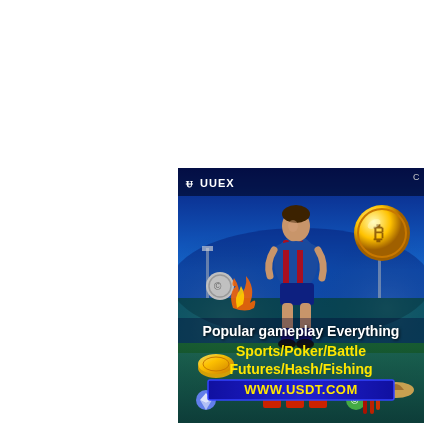[Figure (illustration): UUEX online gaming/gambling advertisement banner. Features a soccer player (Lionel Messi in FC Barcelona kit) in a stadium background with blue tones. Shows a gold Bitcoin coin upper right, gold coins lower left, decorative game icons (slots, fishing, poker chips) along the bottom. Logo 'UUEX' with stylized W icon top left. Text overlay reads 'Popular gameplay Everything', 'Sports/Poker/Battle', 'Futures/Hash/Fishing', and 'WWW.USDT.COM' in a blue banner. Small 'C' copyright mark top right corner.]